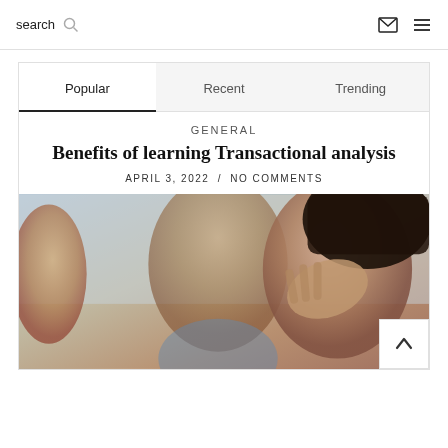search  [search icon]  [envelope icon]  [menu icon]
Popular | Recent | Trending
GENERAL
Benefits of learning Transactional analysis
APRIL 3, 2022 / NO COMMENTS
[Figure (photo): Three people in distress; a woman on the right holds her head in her hand, a blurred man in the center, and a woman partially visible on the left. Background is blurred.]